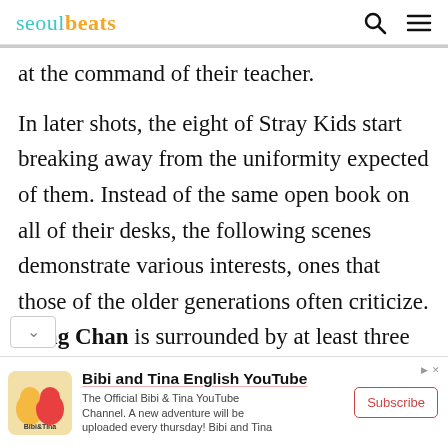seoulbeats
at the command of their teacher.
In later shots, the eight of Stray Kids start breaking away from the uniformity expected of them. Instead of the same open book on all of their desks, the following scenes demonstrate various interests, ones that those of the older generations often criticize. Bang Chan is surrounded by at least three screens, while Felix bypasses the Rubik's Cube on his desk for a handheld game. I.N. focuses his
[Figure (other): Bibi and Tina advertisement banner with logo, title 'Bibi and Tina English YouTube', description text, and Subscribe button]